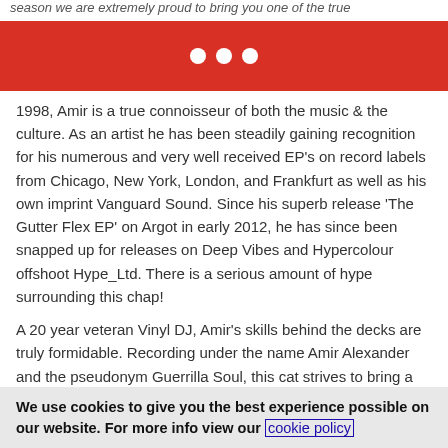season we are extremely proud to bring you one of the true
[Figure (other): Red banner with three white dots]
1998, Amir is a true connoisseur of both the music & the culture. As an artist he has been steadily gaining recognition for his numerous and very well received EP's on record labels from Chicago, New York, London, and Frankfurt as well as his own imprint Vanguard Sound. Since his superb release 'The Gutter Flex EP' on Argot in early 2012, he has since been snapped up for releases on Deep Vibes and Hypercolour offshoot Hype_Ltd. There is a serious amount of hype surrounding this chap!
A 20 year veteran Vinyl DJ, Amir's skills behind the decks are truly formidable. Recording under the name Amir Alexander and the pseudonym Guerrilla Soul, this cat strives to bring a raw and gritty modern spin on classic Detroit, Chicago, and New York underground sounds. With extremely rare appearances this side of the pond, we are very excited about welcoming Amir for his Leeds debut.
We use cookies to give you the best experience possible on our website. For more info view our cookie policy